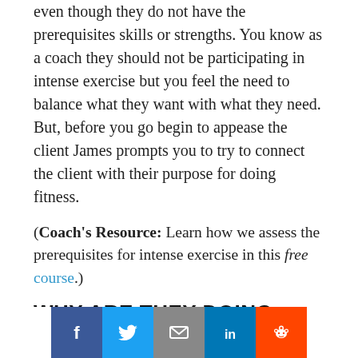even though they do not have the prerequisites skills or strengths. You know as a coach they should not be participating in intense exercise but you feel the need to balance what they want with what they need. But, before you go begin to appease the client James prompts you to try to connect the client with their purpose for doing fitness.
(Coach's Resource: Learn how we assess the prerequisites for intense exercise in this free course.)
WHY ARE THEY DOING FITNESS?
“Start by asking the clients why are they doing fitness,” says James. “Most clients will answer that they want to be active forever”. This is an insight into
[Figure (other): Social sharing bar with buttons: Facebook, Twitter, Email, LinkedIn, Reddit]